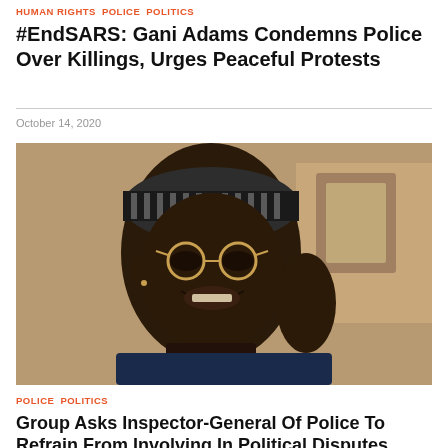HUMAN RIGHTS  POLICE  POLITICS
#EndSARS: Gani Adams Condemns Police Over Killings, Urges Peaceful Protests
October 14, 2020
[Figure (photo): Portrait photo of a man wearing glasses and a patterned cap, smiling and holding his hand up near his face]
POLICE  POLITICS
Group Asks Inspector-General Of Police To Refrain From Involving In Political Disputes